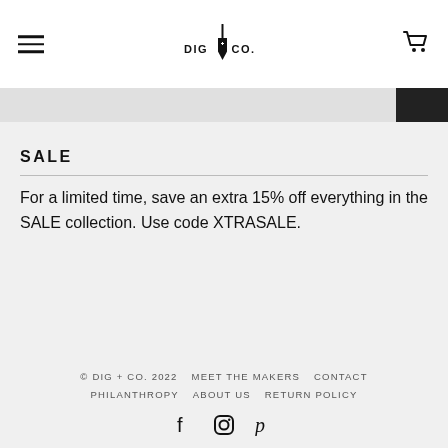DIG + CO.
SALE
For a limited time, save an extra 15% off everything in the SALE collection. Use code XTRASALE.
© DIG + CO. 2022  MEET THE MAKERS  CONTACT  PHILANTHROPY  ABOUT US  RETURN POLICY